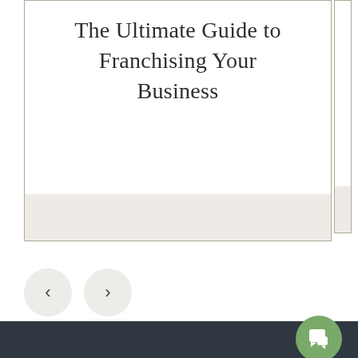The Ultimate Guide to Franchising Your Business
[Figure (illustration): Book cover card showing title text, with a beige/cream bottom strip. A second partially visible card peeks out behind the right edge. Navigation previous and next buttons (chevron arrows) below. Dark footer bar at bottom with green chat button.]